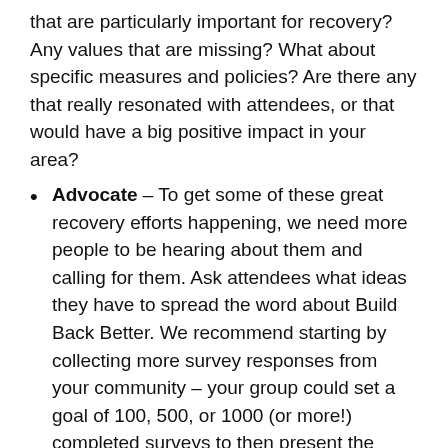that are particularly important for recovery? Any values that are missing? What about specific measures and policies? Are there any that really resonated with attendees, or that would have a big positive impact in your area?
Advocate – To get some of these great recovery efforts happening, we need more people to be hearing about them and calling for them. Ask attendees what ideas they have to spread the word about Build Back Better. We recommend starting by collecting more survey responses from your community – your group could set a goal of 100, 500, or 1000 (or more!) completed surveys to then present the results to your local MP (don't worry, we'll help you!).
Next steps – Agree on what action to take, and start assigning tasks to individuals.
Close – Before wrapping up, agree on when you'll next meet as a group and ensure you've all shared each other's contact details so you can stay in